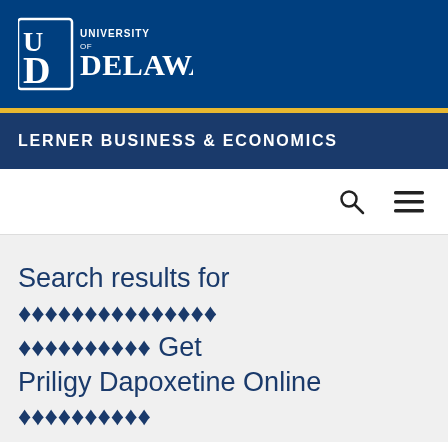University of Delaware — Lerner Business & Economics
Search results for ???????????????????????????????? Get Priligy Dapoxetine Online ??????????